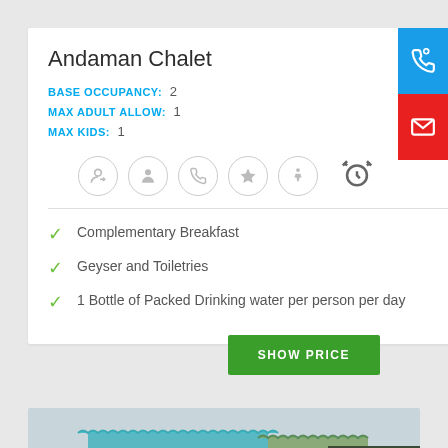Andaman Chalet
BASE OCCUPANCY: 2
MAX ADULT ALLOW: 1
MAX KIDS: 1
[Figure (illustration): Row of circular icon buttons (person refresh, person, phone, star, person walking) and an alarm clock icon to the right]
Complementary Breakfast
Geyser and Toiletries
1 Bottle of Packed Drinking water per person per day
[Figure (illustration): Blue button with headset icon on the right side]
[Figure (illustration): Red button with envelope/message icon on the right side]
[Figure (illustration): Green SHOW PRICE button]
[Figure (photo): Photo of a building with colorful blue/teal corrugated metal roof and walls, taken from a low angle against a grey sky]